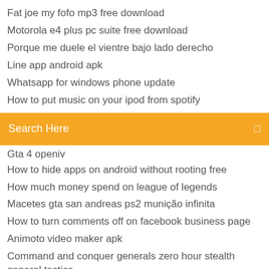Fat joe my fofo mp3 free download
Motorola e4 plus pc suite free download
Porque me duele el vientre bajo lado derecho
Line app android apk
Whatsapp for windows phone update
How to put music on your ipod from spotify
[Figure (screenshot): Search bar with orange background and text 'Search Here']
Gta 4 openiv
How to hide apps on android without rooting free
How much money spend on league of legends
Macetes gta san andreas ps2 munição infinita
How to turn comments off on facebook business page
Animoto video maker apk
Command and conquer generals zero hour stealth general tactics
Is the sims 4 free to download
Microsoft word starter 2019 windows 10 free download
Download adobe photoshop for pc apk